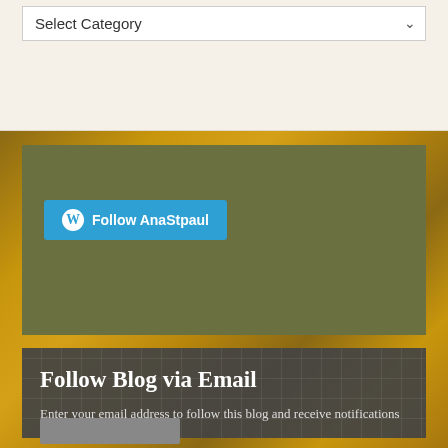[Figure (screenshot): Dropdown selector showing 'Select Category' with a chevron arrow, on a cream background]
[Figure (screenshot): Olive green WordPress Follow widget with a blue 'Follow AnaStpaul' button containing a WordPress logo]
Follow Blog via Email
Enter your email address to follow this blog and receive notifications of new posts by email.
[Figure (screenshot): White email input field with placeholder text 'Enter your email address']